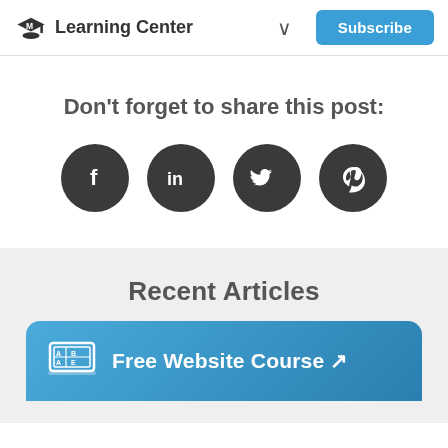Learning Center | Subscribe
Don't forget to share this post:
[Figure (illustration): Four dark circular social media share buttons: Facebook (f), LinkedIn (in), Twitter (bird), Pinterest (p)]
Recent Articles
[Figure (illustration): Blue banner with a laptop/course icon and text 'Free Website Course' with an arrow link icon]